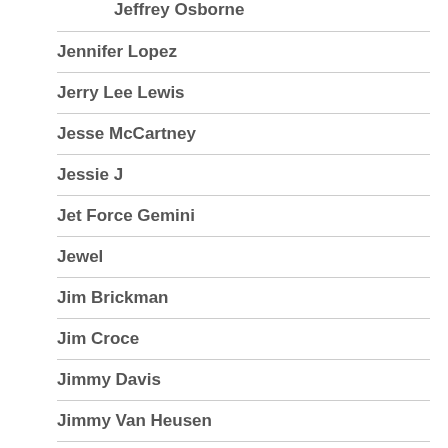Jeffrey Osborne
Jennifer Lopez
Jerry Lee Lewis
Jesse McCartney
Jessie J
Jet Force Gemini
Jewel
Jim Brickman
Jim Croce
Jimmy Davis
Jimmy Van Heusen
Joan Osborne